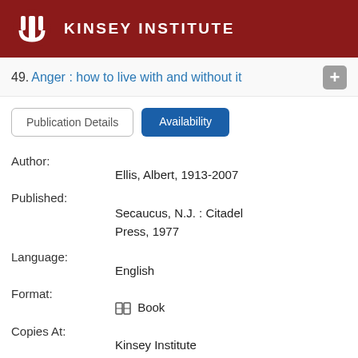KINSEY INSTITUTE
49. Anger : how to live with and without it
Publication Details | Availability
Author: Ellis, Albert, 1913-2007
Published: Secaucus, N.J. : Citadel Press, 1977
Language: English
Format: Book
Copies At: Kinsey Institute